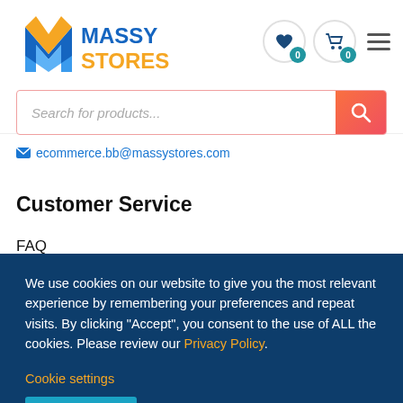[Figure (logo): Massy Stores logo with M-shaped icon in blue and orange, text MASSY STORES in blue and orange]
[Figure (infographic): Navigation icons: heart with 0 badge, shopping cart with 0 badge, hamburger menu]
Search for products...
ecommerce.bb@massystores.com
Customer Service
FAQ
We use cookies on our website to give you the most relevant experience by remembering your preferences and repeat visits. By clicking "Accept", you consent to the use of ALL the cookies. Please review our Privacy Policy.
Cookie settings
ACCEPT